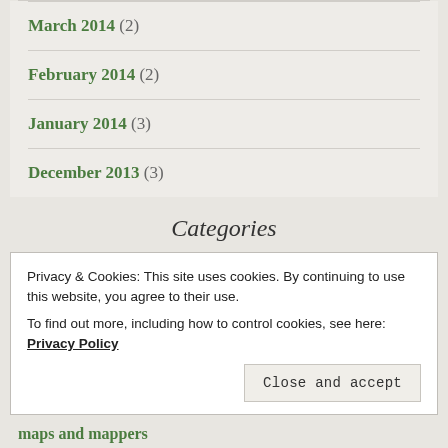March 2014 (2)
February 2014 (2)
January 2014 (3)
December 2013 (3)
Categories
Privacy & Cookies: This site uses cookies. By continuing to use this website, you agree to their use.
To find out more, including how to control cookies, see here: Privacy Policy
Close and accept
maps and mappers